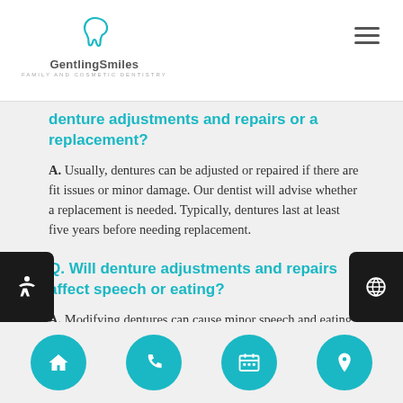GentlingSmiles Family and Cosmetic Dentistry
Q. denture adjustments and repairs or a replacement?
A. Usually, dentures can be adjusted or repaired if there are fit issues or minor damage. Our dentist will advise whether a replacement is needed. Typically, dentures last at least five years before needing replacement.
Q. Will denture adjustments and repairs affect speech or eating?
A. Modifying dentures can cause minor speech and eating issues. However, these will go away with a little practice. Properly-fitting and well-maintained dentures become more comfortable
Home | Phone | Calendar | Location navigation buttons